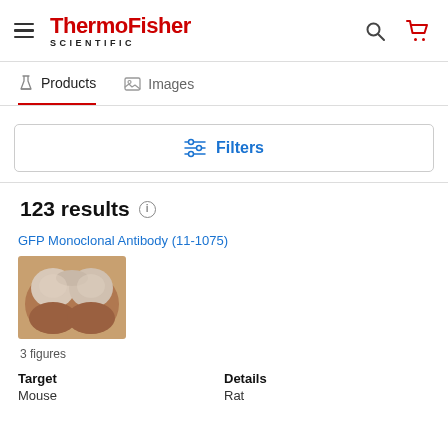ThermoFisher SCIENTIFIC
Products   Images
Filters
123 results
GFP Monoclonal Antibody (11-1075)
[Figure (photo): Immunohistochemistry image showing tissue staining with the antibody, brown/tan coloration]
3 figures
Target
Mouse
Details
Rat